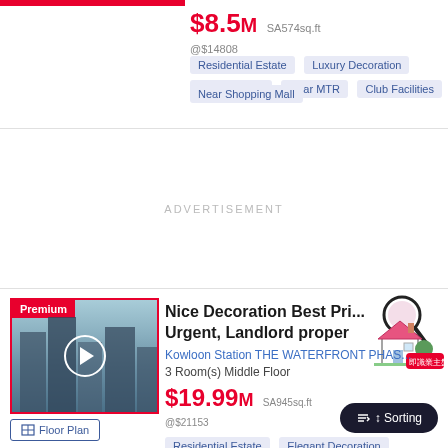$8.5M SA574sq.ft @$14808
Residential Estate
Luxury Decoration
Building View
Near MTR
Club Facilities
Near Shopping Mall
ADVERTISEMENT
Nice Decoration Best Pri... Urgent, Landlord proper
Kowloon Station THE WATERFRONT PHAS...
3 Room(s) Middle Floor
$19.99M SA945sq.ft @$21153
Residential Estate
Elegant Decoration
Club Facilities
Near Shopping Mall
[Figure (photo): Premium property photo showing high-rise buildings with floor plan button below]
Sorting